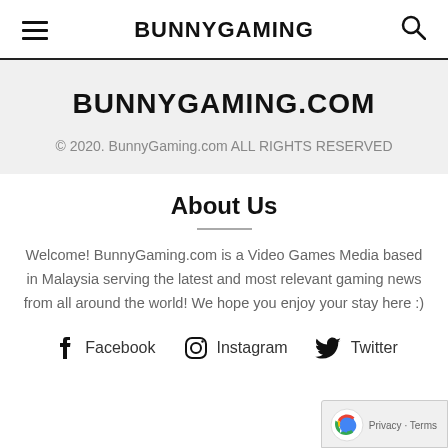BUNNYGAMING
BUNNYGAMING.COM
© 2020. BunnyGaming.com ALL RIGHTS RESERVED
About Us
Welcome! BunnyGaming.com is a Video Games Media based in Malaysia serving the latest and most relevant gaming news from all around the world! We hope you enjoy your stay here :)
Facebook  Instagram  Twitter